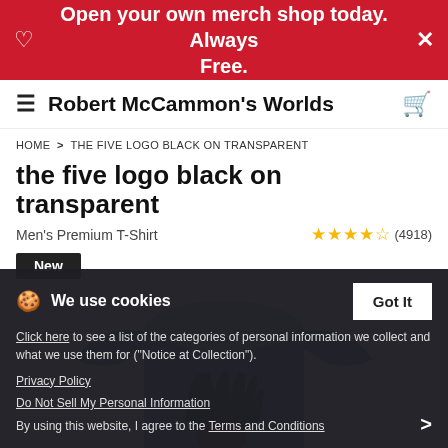Open your own merch shop today. Always Free.
Robert McCammon's Worlds
HOME > THE FIVE LOGO BLACK ON TRANSPARENT
the five logo black on transparent
Men's Premium T-Shirt  ★★★★½ (4918)
New
[Figure (photo): Blue men's premium t-shirt with a black logo graphic on the front]
We use cookies  Got It  Click here to see a list of the categories of personal information we collect and what we use them for ("Notice at Collection").  Privacy Policy  Do Not Sell My Personal Information  By using this website, I agree to the Terms and Conditions